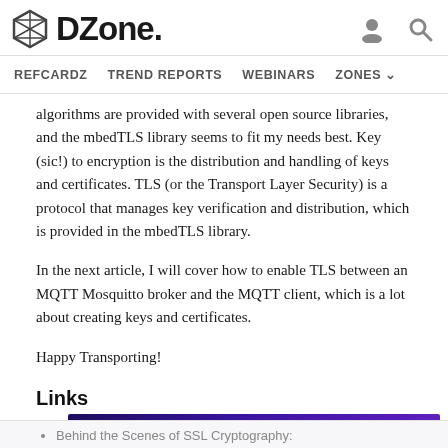DZone | REFCARDZ  TREND REPORTS  WEBINARS  ZONES
algorithms are provided with several open source libraries, and the mbedTLS library seems to fit my needs best. Key (sic!) to encryption is the distribution and handling of keys and certificates. TLS (or the Transport Layer Security) is a protocol that manages key verification and distribution, which is provided in the mbedTLS library.
In the next article, I will cover how to enable TLS between an MQTT Mosquitto broker and the MQTT client, which is a lot about creating keys and certificates.
Happy Transporting!
Links
[Figure (screenshot): SingleStore advertisement banner: ON DEMAND WEBINAR - Migrating from PostgreSQL - 20-100x Faster Performance]
Behind the Scenes of SSL Cryptography: